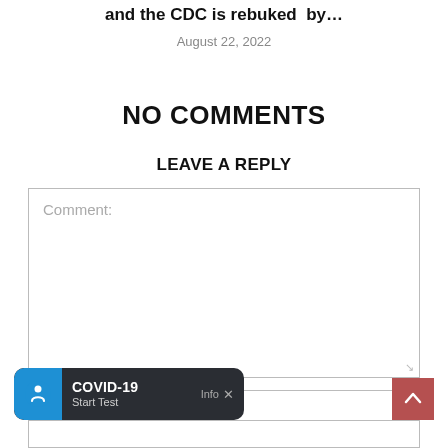and the CDC is rebuked  by…
August 22, 2022
NO COMMENTS
LEAVE A REPLY
Comment:
[Figure (screenshot): COVID-19 Start Test notification banner with blue circular icon and dark background, with Info and X controls]
[Figure (other): Back to top button — dark red/mauve square with white up-arrow chevron]